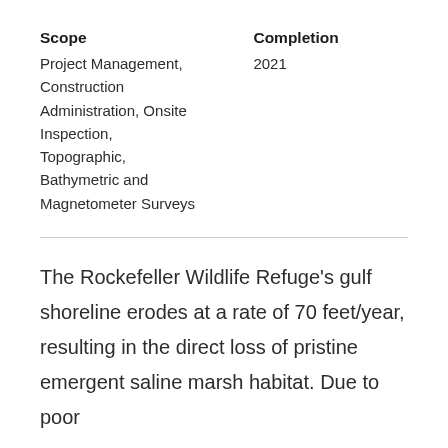| Scope | Completion |
| --- | --- |
| Project Management, Construction Administration, Onsite Inspection, Topographic, Bathymetric and Magnetometer Surveys | 2021 |
The Rockefeller Wildlife Refuge's gulf shoreline erodes at a rate of 70 feet/year, resulting in the direct loss of pristine emergent saline marsh habitat. Due to poor